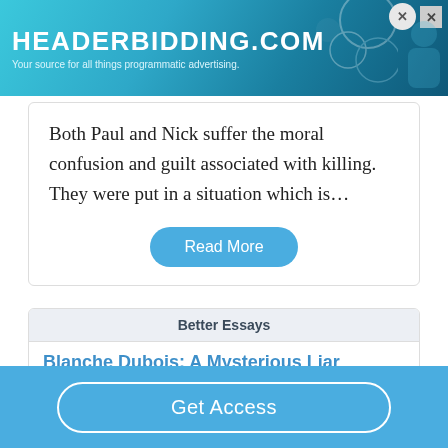[Figure (other): Advertisement banner for headerbidding.com - 'Your source for all things programmatic advertising.' with teal/blue gradient background and decorative circles.]
Both Paul and Nick suffer the moral confusion and guilt associated with killing. They were put in a situation which is…
Read More
Better Essays
Blanche Dubois: A Mysterious Liar
1295 Words
6 Pages
Get Access